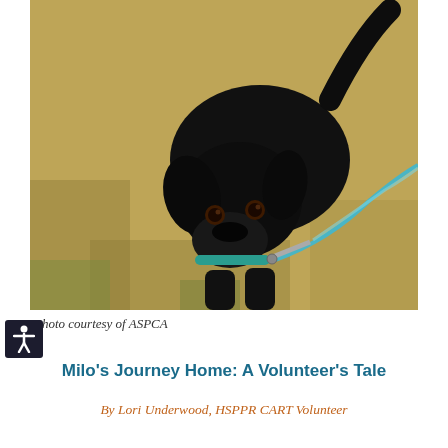[Figure (photo): A black Labrador puppy/young dog on a leash standing on dry grass, looking up toward the camera. The dog wears a teal collar and is attached to a teal leash.]
Photo courtesy of ASPCA
Milo's Journey Home: A Volunteer's Tale
By Lori Underwood, HSPPR CART Volunteer